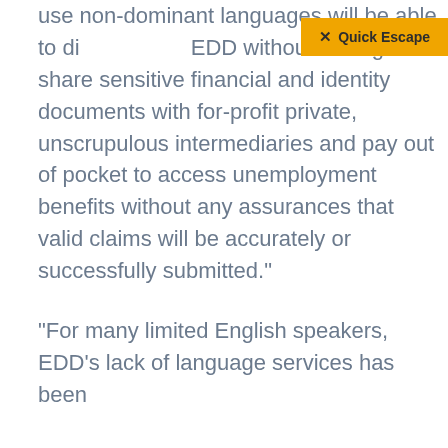use non-dominant languages will be able to directly access EDD without having to share sensitive financial and identity documents with for-profit private, unscrupulous intermediaries and pay out of pocket to access unemployment benefits without any assurances that valid claims will be accurately or successfully submitted."
“For many limited English speakers, EDD’s lack of language services has been